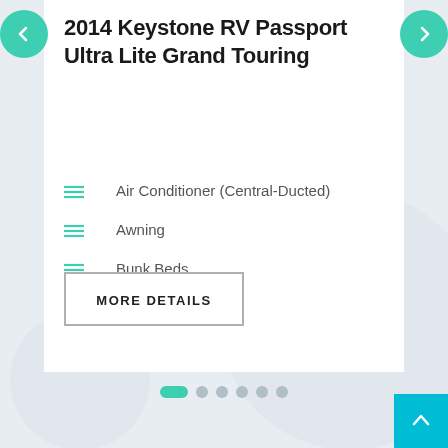2014 Keystone RV Passport Ultra Lite Grand Touring
Air Conditioner (Central-Ducted)
Awning
Bunk Beds
Cable Hookup
MORE DETAILS